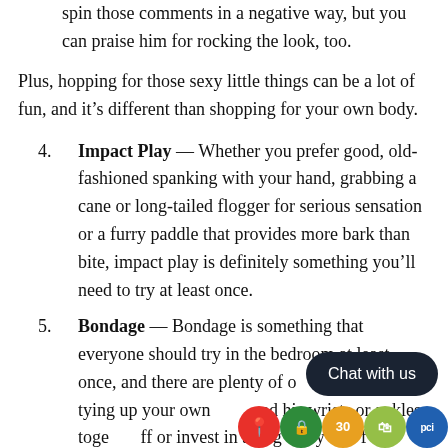spin those comments in a negative way, but you can praise him for rocking the look, too.
Plus, hopping for those sexy little things can be a lot of fun, and it's different than shopping for your own body.
Impact Play — Whether you prefer good, old-fashioned spanking with your hand, grabbing a cane or long-tailed flogger for serious sensation or a furry paddle that provides more bark than bite, impact play is definitely something you'll need to try at least once.
Bondage — Bondage is something that everyone should try in the bedroom at least once, and there are plenty of options when it comes to tying up your own … and his wrists or ankles together … or invest in a hog tie sys… to… f…